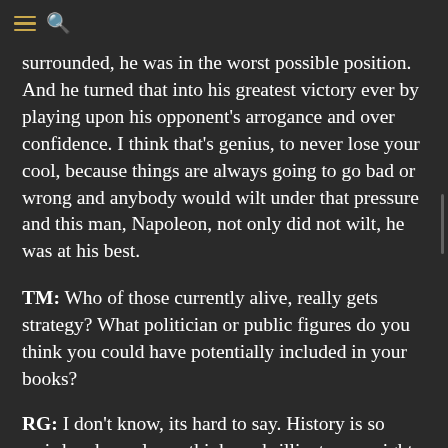surrounded, he was in the worst possible position. And he turned that into his greatest victory ever by playing upon his opponent's arrogance and over confidence. I think that's genius, to never lose your cool, because things are always going to go bad or wrong and anybody would wilt under that pressure and this man, Napoleon, not only did not wilt, he was at his best.
TM: Who of those currently alive, really gets strategy? What politician or public figures do you think you could have potentially included in your books?
RG: I don't know, its hard to say. History is so weird and people we think are brilliant now might be forgotten in a few years. [Also Clinton...]